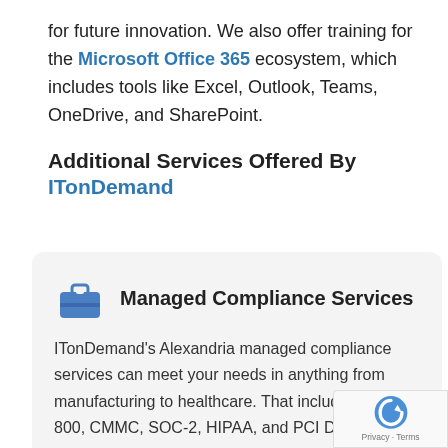for future innovation. We also offer training for the Microsoft Office 365 ecosystem, which includes tools like Excel, Outlook, Teams, OneDrive, and SharePoint.
Additional Services Offered By ITonDemand
[Figure (illustration): Blue briefcase icon representing managed compliance services]
Managed Compliance Services ITonDemand's Alexandria managed compliance services can meet your needs in anything from manufacturing to healthcare. That includes HIST-800, CMMC, SOC-2, HIPAA, and PCI Data